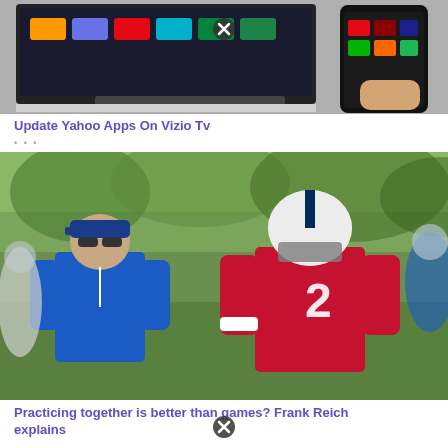[Figure (photo): Smart TV with streaming apps displayed on screen, and a hand holding a smartphone showing streaming app icons including Netflix, Hulu, and Amazon Prime Video]
Update Yahoo Apps On Vizio Tv
[Figure (photo): NFL football players and a coach in blue shirt at practice. A player wearing red jersey number 2 stands prominently, likely an Indianapolis Colts practice session with Frank Reich coaching]
Practicing together is better than games? Frank Reich explains